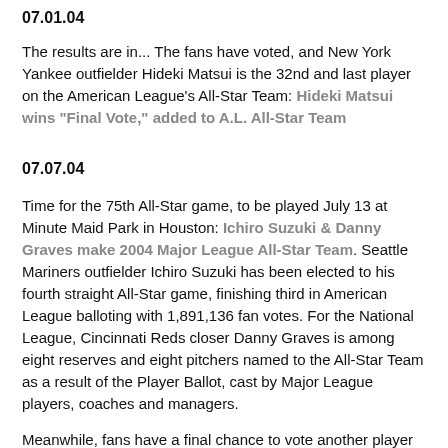07.01.04
The results are in... The fans have voted, and New York Yankee outfielder Hideki Matsui is the 32nd and last player on the American League's All-Star Team: Hideki Matsui wins "Final Vote," added to A.L. All-Star Team
07.07.04
Time for the 75th All-Star game, to be played July 13 at Minute Maid Park in Houston: Ichiro Suzuki & Danny Graves make 2004 Major League All-Star Team. Seattle Mariners outfielder Ichiro Suzuki has been elected to his fourth straight All-Star game, finishing third in American League balloting with 1,891,136 fan votes. For the National League, Cincinnati Reds closer Danny Graves is among eight reserves and eight pitchers named to the All-Star Team as a result of the Player Ballot, cast by Major League players, coaches and managers.
Meanwhile, fans have a final chance to vote another player